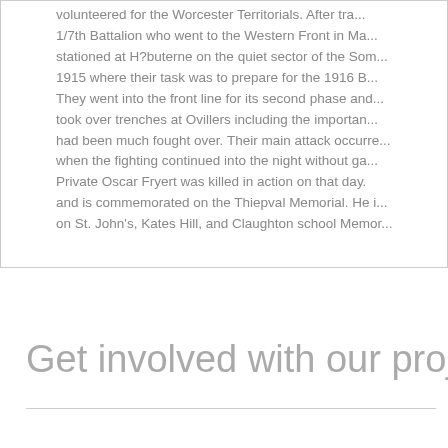volunteered for the Worcester Territorials. After training, 1/7th Battalion who went to the Western Front in Ma... stationed at H?buterne on the quiet sector of the Som... 1915 where their task was to prepare for the 1916 B... They went into the front line for its second phase and... took over trenches at Ovillers including the importan... had been much fought over. Their main attack occurre... when the fighting continued into the night without ga... Private Oscar Fryert was killed in action on that day. and is commemorated on the Thiepval Memorial. He i... on St. John's, Kates Hill, and Claughton school Memor...
Get involved with our project...